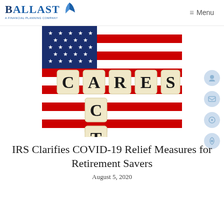Ballast - A Financial Planning Company | Menu
[Figure (photo): Photo of letter tiles spelling CARES ACT arranged on an American flag background]
IRS Clarifies COVID-19 Relief Measures for Retirement Savers
August 5, 2020